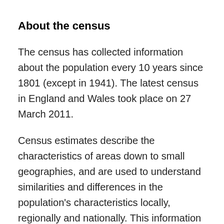About the census
The census has collected information about the population every 10 years since 1801 (except in 1941). The latest census in England and Wales took place on 27 March 2011.
Census estimates describe the characteristics of areas down to small geographies, and are used to understand similarities and differences in the population's characteristics locally, regionally and nationally. This information is used for planning and delivering services, for example information about ethnicity is used for equality monitoring, and vehicle